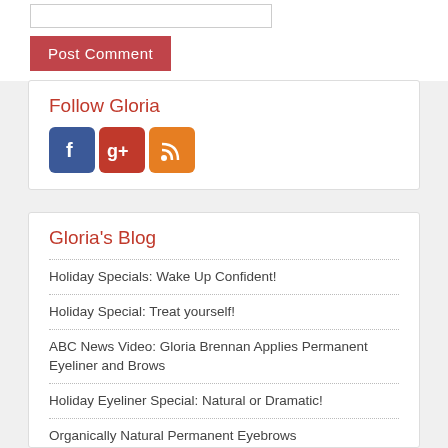[Figure (other): Input field bar at top]
[Figure (other): Post Comment button - red/pink background with white text]
Follow Gloria
[Figure (other): Social media icons: Facebook (blue), Google+ (red), RSS (orange)]
Gloria’s Blog
Holiday Specials: Wake Up Confident!
Holiday Special: Treat yourself!
ABC News Video: Gloria Brennan Applies Permanent Eyeliner and Brows
Holiday Eyeliner Special: Natural or Dramatic!
Organically Natural Permanent Eyebrows
Subtle Emerald Green Permanent Eyeliner